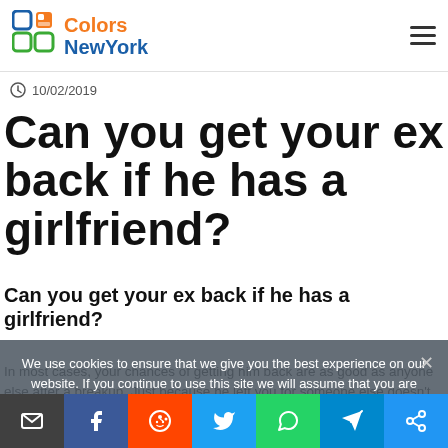Colors NewYork
10/02/2019
Can you get your ex back if he has a girlfriend?
Can you get your ex back if he has a girlfriend?
We use cookies to ensure that we give you the best experience on our website. If you continue to use this site we will assume that you are happy with it.
In most cases, your chances of getting him back are as good as anyone else after a breakup. Just because he left you for someone else doesn't mean he can't come back. It just means that he is in a new relationship right now and that new